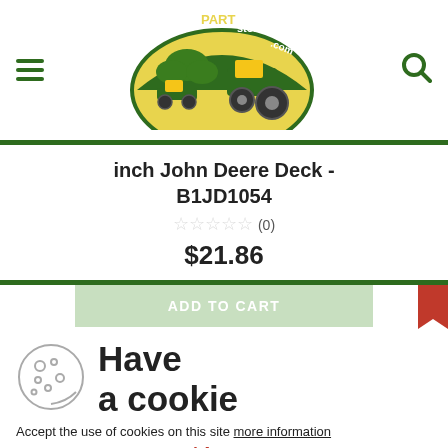[Figure (logo): Green Part Store logo with tractor and lawn mower on yellow/green background, www.greenPARTstore.com]
inch John Deere Deck - B1JD1054
☆☆☆☆☆ (0)
$21.86
ADD TO CART
[Figure (illustration): Cookie icon - circle with cookie dots]
Have
a cookie
Accept the use of cookies on this site more information
I Accept